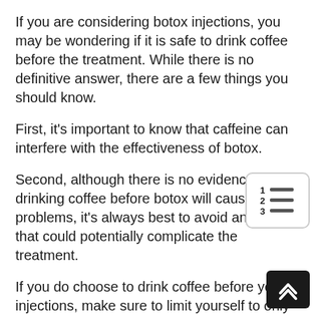If you are considering botox injections, you may be wondering if it is safe to drink coffee before the treatment. While there is no definitive answer, there are a few things you should know.
First, it's important to know that caffeine can interfere with the effectiveness of botox.
Second, although there is no evidence that drinking coffee before botox will cause any problems, it's always best to avoid anything that could potentially complicate the treatment.
If you do choose to drink coffee before your injections, make sure to limit yourself to only moderate amounts and wait until at least an hour after your treatment has been completed to drink caffeinated beverages.
[Figure (illustration): Numbered list icon in a rounded rectangle, showing '1', '2', '3' with horizontal lines next to each number.]
[Figure (illustration): Dark square button with upward double chevron arrow for scrolling to top.]